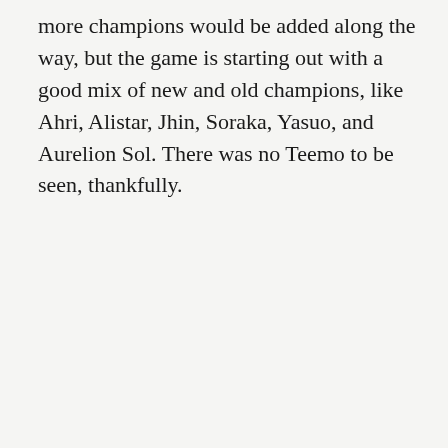more champions would be added along the way, but the game is starting out with a good mix of new and old champions, like Ahri, Alistar, Jhin, Soraka, Yasuo, and Aurelion Sol. There was no Teemo to be seen, thankfully.